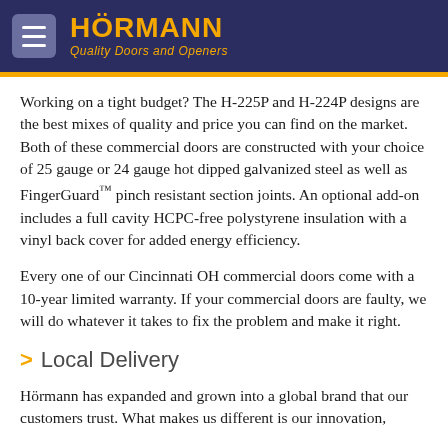HÖRMANN Quality Doors and Openers
Working on a tight budget? The H-225P and H-224P designs are the best mixes of quality and price you can find on the market. Both of these commercial doors are constructed with your choice of 25 gauge or 24 gauge hot dipped galvanized steel as well as FingerGuard™ pinch resistant section joints. An optional add-on includes a full cavity HCPC-free polystyrene insulation with a vinyl back cover for added energy efficiency.
Every one of our Cincinnati OH commercial doors come with a 10-year limited warranty. If your commercial doors are faulty, we will do whatever it takes to fix the problem and make it right.
> Local Delivery
Hörmann has expanded and grown into a global brand that our customers trust. What makes us different is our innovation,